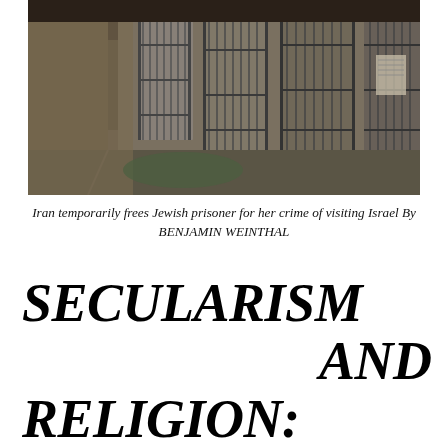[Figure (photo): Interior of a prison corridor with metal cell bars and gates visible on the right side, a concrete walkway, and dim lighting. The image shows multiple cell block doors with bars.]
Iran temporarily frees Jewish prisoner for her crime of visiting Israel By BENJAMIN WEINTHAL
SECULARISM AND RELIGION: THE ONSLAUGHT AGAINST THE WEST'S MORAL CODES